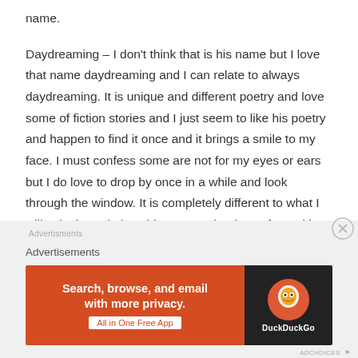name.
Daydreaming – I don't think that is his name but I love that name daydreaming and I can relate to always daydreaming. It is unique and different poetry and love some of fiction stories and I just seem to like his poetry and happen to find it once and it brings a smile to my face. I must confess some are not for my eyes or ears but I do love to drop by once in a while and look through the window. It is completely different to what I will write but I do love his poetry. Thank you for making me smile.
Advertisements
[Figure (other): DuckDuckGo advertisement banner: 'Search, browse, and email with more privacy. All in One Free App' on orange background with DuckDuckGo logo on dark background]